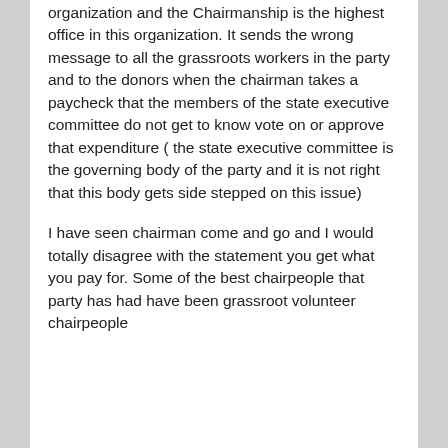organization and the Chairmanship is the highest office in this organization. It sends the wrong message to all the grassroots workers in the party and to the donors when the chairman takes a paycheck that the members of the state executive committee do not get to know vote on or approve that expenditure ( the state executive committee is the governing body of the party and it is not right that this body gets side stepped on this issue)
I have seen chairman come and go and I would totally disagree with the statement you get what you pay for. Some of the best chairpeople that party has had have been grassroot volunteer chairpeople